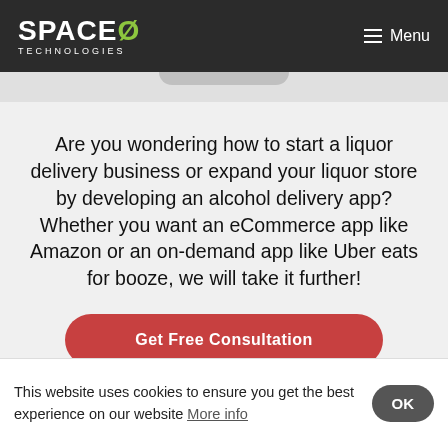SPACE0 TECHNOLOGIES   Menu
Are you wondering how to start a liquor delivery business or expand your liquor store by developing an alcohol delivery app? Whether you want an eCommerce app like Amazon or an on-demand app like Uber eats for booze, we will take it further!
Get Free Consultation
[Figure (screenshot): Partial view of a mobile phone mockup showing a dark screen with app interface]
This website uses cookies to ensure you get the best experience on our website More info